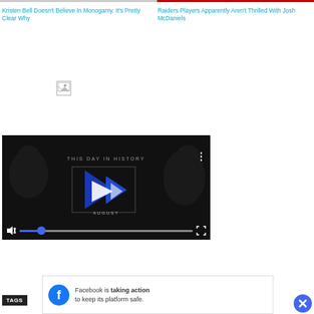Kristen Bell Doesn't Believe In Monogamy. It's Pretty Clear Why
Raiders Players Apparently Aren't Thrilled With Josh McDaniels
[Figure (screenshot): Broken image placeholder icon (small document/image icon)]
[Figure (screenshot): Video player showing 'THIS DAY IN HISTORY' with play button, AUGUST label, mute button, blue progress bar with dot handle, and fullscreen icon on dark background]
TAGS
Facebook is taking action to keep its platform safe.